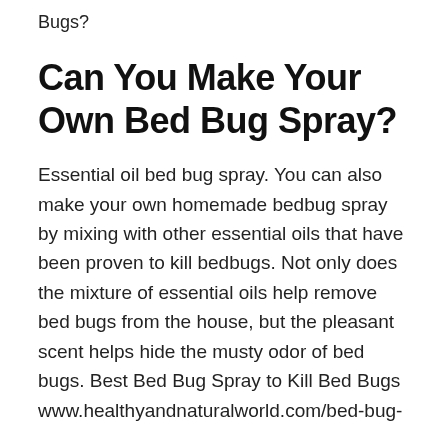Bugs?
Can You Make Your Own Bed Bug Spray?
Essential oil bed bug spray. You can also make your own homemade bedbug spray by mixing with other essential oils that have been proven to kill bedbugs. Not only does the mixture of essential oils help remove bed bugs from the house, but the pleasant scent helps hide the musty odor of bed bugs. Best Bed Bug Spray to Kill Bed Bugs www.healthyandnaturalworld.com/bed-bug-